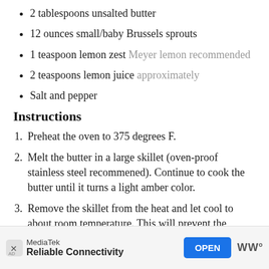2 tablespoons unsalted butter
12 ounces small/baby Brussels sprouts
1 teaspoon lemon zest Meyer lemon recommended
2 teaspoons lemon juice approximately
Salt and pepper
Instructions
Preheat the oven to 375 degrees F.
Melt the butter in a large skillet (oven-proof stainless steel recommened). Continue to cook the butter until it turns a light amber color.
Remove the skillet from the heat and let cool to about room temperature. This will prevent the Brussels sprouts from frying when added to the skillet.
[Figure (other): Advertisement banner: MediaTek - Reliable Connectivity with OPEN button]